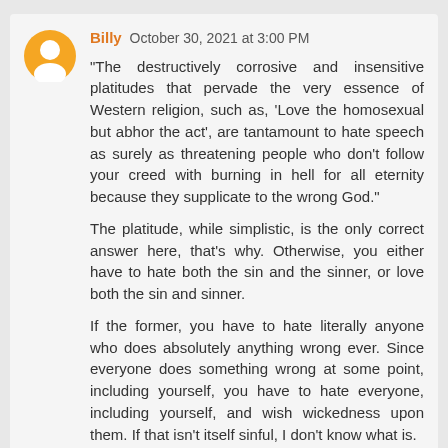[Figure (illustration): Orange circle avatar with a white person/user silhouette icon (Blogger-style default avatar)]
Billy October 30, 2021 at 3:00 PM
"The destructively corrosive and insensitive platitudes that pervade the very essence of Western religion, such as, 'Love the homosexual but abhor the act', are tantamount to hate speech as surely as threatening people who don't follow your creed with burning in hell for all eternity because they supplicate to the wrong God."
The platitude, while simplistic, is the only correct answer here, that's why. Otherwise, you either have to hate both the sin and the sinner, or love both the sin and sinner.
If the former, you have to hate literally anyone who does absolutely anything wrong ever. Since everyone does something wrong at some point, including yourself, you have to hate everyone, including yourself, and wish wickedness upon them. If that isn't itself sinful, I don't know what is.